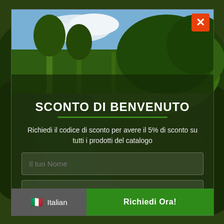[Figure (screenshot): Modal popup on a dark green forest background with a close button (orange X) in the top-right corner, a forest/nature photo in the upper portion, Italian discount offer text, two input fields, and a footer with language selector and call-to-action button.]
SCONTO DI BENVENUTO
Richiedi il codice di sconto per avere il 5% di sconto su tutti i prodotti del catalogo
Il tuo Nome
La tua Mail
Italian
Richiedi Ora!